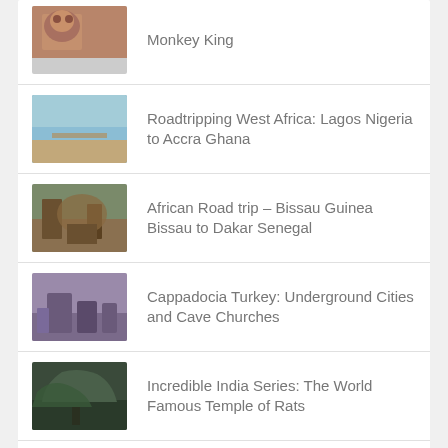Monkey King
Roadtripping West Africa: Lagos Nigeria to Accra Ghana
African Road trip – Bissau Guinea Bissau to Dakar Senegal
Cappadocia Turkey: Underground Cities and Cave Churches
Incredible India Series: The World Famous Temple of Rats
Algerian Saharan Oasis Walled Cities of M'zab Valley
My Travel Map